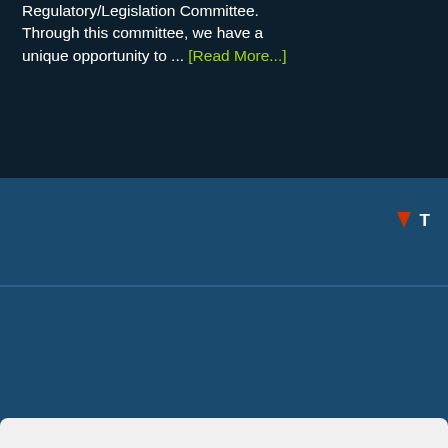Regulatory/Legislation Committee. Through this committee, we have a unique opportunity to ... [Read More...]
[Figure (infographic): Down arrow icon with the letter T, partially visible at right edge, on medium blue band]
Copyright © All Rights Reserved
[Figure (infographic): Twitter and LinkedIn social media icons in square rounded boxes]